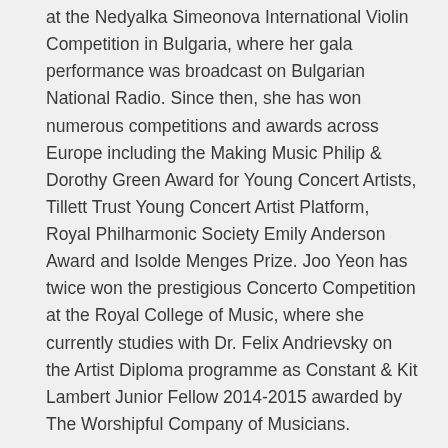at the Nedyalka Simeonova International Violin Competition in Bulgaria, where her gala performance was broadcast on Bulgarian National Radio. Since then, she has won numerous competitions and awards across Europe including the Making Music Philip & Dorothy Green Award for Young Concert Artists, Tillett Trust Young Concert Artist Platform, Royal Philharmonic Society Emily Anderson Award and Isolde Menges Prize. Joo Yeon has twice won the prestigious Concerto Competition at the Royal College of Music, where she currently studies with Dr. Felix Andrievsky on the Artist Diploma programme as Constant & Kit Lambert Junior Fellow 2014-2015 awarded by The Worshipful Company of Musicians.
Also a composer, Joo Yeon won the coveted title of BBC/Guardian Young Composer of the Year in 2005 for her composition Conflict in Time, which was subsequently performed at Wigmore Hall, Cadogan Hall and broadcast on BBC Radio 3. During her studies at the Purcell School, she composed a work for the Birtwistle Games Festival at the Southbank Centre. Her